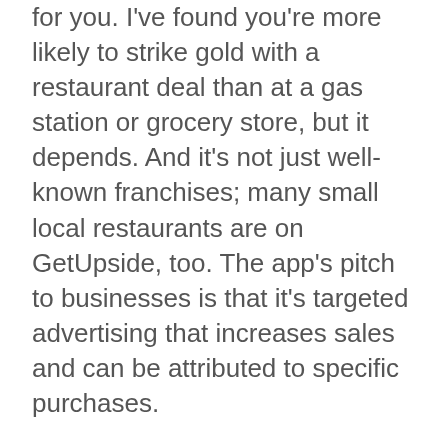for you. I've found you're more likely to strike gold with a restaurant deal than at a gas station or grocery store, but it depends. And it's not just well-known franchises; many small local restaurants are on GetUpside, too. The app's pitch to businesses is that it's targeted advertising that increases sales and can be attributed to specific purchases.
If you see a deal you like on the GetUpside app, you need to click “claim offer” before purchasing, and then you have four hours to make a purchase with a credit or debit card. After that, you need to upload a photo of the receipt. Once you receive your cash back, you can redeem it as often as you like, with no minimum redemption amount.